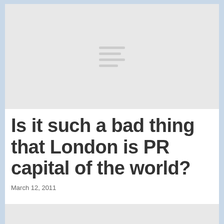[Figure (illustration): Grey placeholder image block at top with a hamburger/menu lines icon in center]
Is it such a bad thing that London is PR capital of the world?
March 12, 2011
[Figure (illustration): Grey placeholder image block at bottom, partially visible]